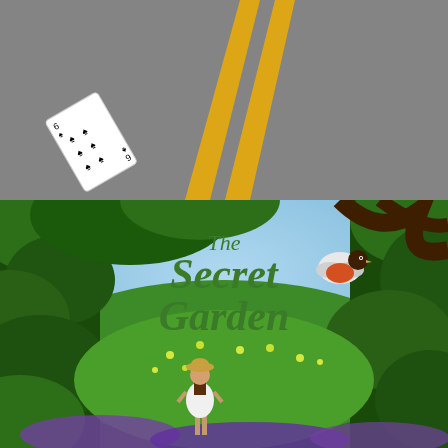[Figure (photo): Top-down view of a gray asphalt road with two yellow painted lines converging toward the top of the frame. A playing card (six of spades) lies on the road surface in the lower left portion of the image.]
[Figure (illustration): Book cover illustration for 'The Secret Garden'. A lush green garden scene viewed through an arch of dark green foliage and tree branches. In the center background, text reads 'The Secret Garden' in green serif letters against a light blue sky. A small girl in a white dress and straw hat stands in the middle distance looking into the garden. A robin bird with an orange-red breast flies in the upper right. The garden is filled with green vines, leaves, and small yellow flowers, with purple flowers at the bottom.]